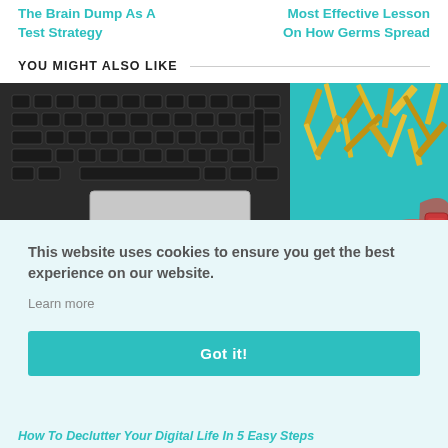The Brain Dump As A Test Strategy
Most Effective Lesson On How Germs Spread
YOU MIGHT ALSO LIKE
[Figure (photo): Overhead view of laptop keyboard, trackpad, gold tinsel/confetti decoration on teal background, and a red/pink smartphone on white surface]
This website uses cookies to ensure you get the best experience on our website.
Learn more
Got it!
How To Declutter Your Digital Life In 5 Easy Steps